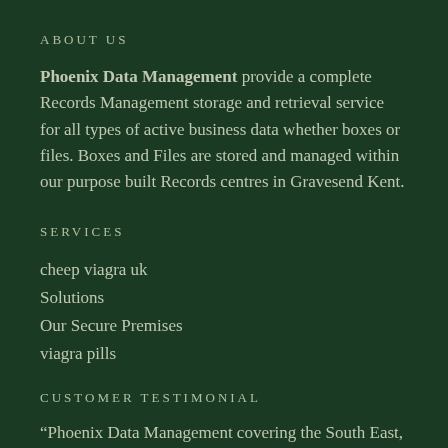ABOUT US
Phoenix Data Management provide a complete Records Management storage and retrieval service for all types of active business data whether boxes or files. Boxes and Files are stored and managed within our purpose built Records centres in Gravesend Kent.
SERVICES
cheep viagra uk
Solutions
Our Secure Premises
viagra pills
CUSTOMER TESTIMONIAL
“Phoenix Data Management covering the South East, London and wider UK area operate from 3 purpose built facilities